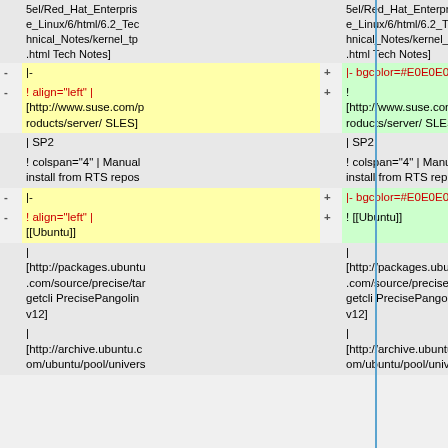| sym | left-content | sym | right-content |
| --- | --- | --- | --- |
|   | 5el/Red_Hat_Enterprise_Linux/6/html/6.2_Technical_Notes/kernel_tp.html Tech Notes] |   | 5el/Red_Hat_Enterprise_Linux/6/html/6.2_Technical_Notes/kernel_tp.html Tech Notes] |
| - | |- | + | |- bgcolor=#E0E0E0 |
| - | ! align="left" |
[http://www.suse.com/products/server/ SLES] | + | !
[http://www.suse.com/products/server/ SLES] |
|   | | SP2 |   | | SP2 |
|   | ! colspan="4" | Manual install from RTS repos |   | ! colspan="4" | Manual install from RTS repos |
| - | |- | + | |- bgcolor=#E0E0E0 |
| - | ! align="left" |
[[Ubuntu]] | + | ! [[Ubuntu]] |
|   | |
[http://packages.ubuntu.com/source/precise/targetcli PrecisePangolin v12] |   | |
[http://packages.ubuntu.com/source/precise/targetcli PrecisePangolin v12] |
|   | |
[http://archive.ubuntu.com/ubuntu/pool/univers |   | |
[http://archive.ubuntu.com/ubuntu/pool/univers |